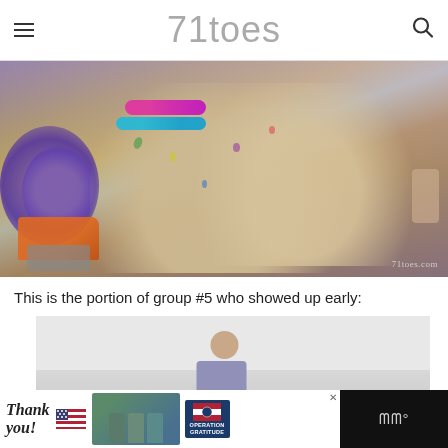71toes
[Figure (photo): Close-up photo of a child's hands covered in colorful paint (green, yellow, purple, pink), with colorful bracelets on the wrist. Purple flowers visible in background. Watermark reads '71toes.com'.]
This is the portion of group #5 who showed up early:
[Figure (photo): Photo of a child partially visible, appearing to be seated indoors against a light wall.]
[Figure (other): Advertisement banner for Operation Gratitude featuring 'Thank you!' text, an American flag graphic, healthcare workers holding items, and the Operation Gratitude logo.]